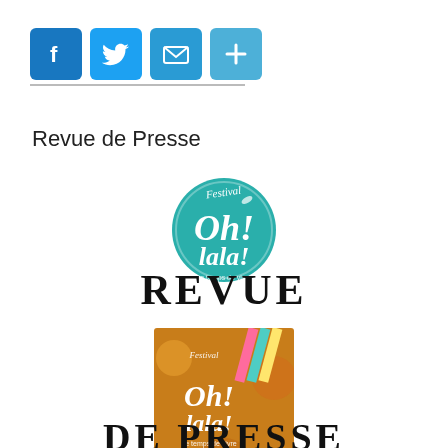[Figure (logo): Social media sharing buttons: Facebook (blue), Twitter (light blue), Mail (teal), Plus/More (light blue), with a horizontal line below]
Revue de Presse
[Figure (logo): Festival Oh lala! circular logo in teal/white with script text]
REVUE
[Figure (illustration): Festival Oh lala! event poster in warm orange/brown tones with decorative elements and date information]
DE PRESSE